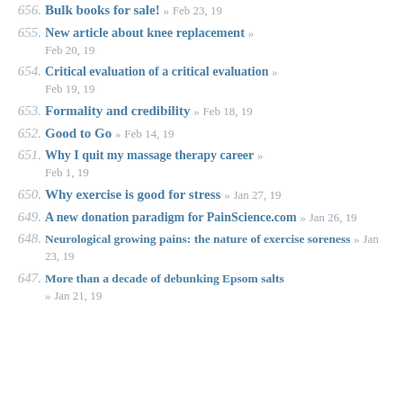656. Bulk books for sale! » Feb 23, 19
655. New article about knee replacement » Feb 20, 19
654. Critical evaluation of a critical evaluation » Feb 19, 19
653. Formality and credibility » Feb 18, 19
652. Good to Go » Feb 14, 19
651. Why I quit my massage therapy career » Feb 1, 19
650. Why exercise is good for stress » Jan 27, 19
649. A new donation paradigm for PainScience.com » Jan 26, 19
648. Neurological growing pains: the nature of exercise soreness » Jan 23, 19
647. More than a decade of debunking Epsom salts » Jan 21, 19